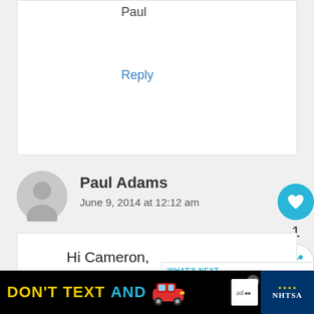Paul
Reply
Paul Adams
June 9, 2014 at 12:12 am
Hi Cameron,
Well, I managed to get my Seiko
Initial impressions are really
favourable. I love the nice
WHAT'S NEXT → 15 Affordable Tourbillon...
DON'T TEXT AND
1